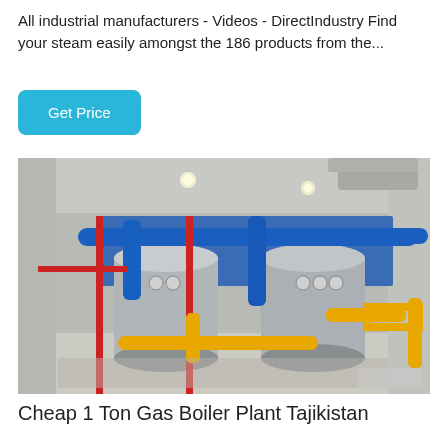All industrial manufacturers - Videos - DirectIndustry Find your steam easily amongst the 186 products from the...
Get Price
[Figure (photo): Industrial boiler plant room showing large cylindrical steam boilers with blue, red, and yellow piping systems installed in a white-walled facility with concrete floor.]
Cheap 1 Ton Gas Boiler Plant Tajikistan